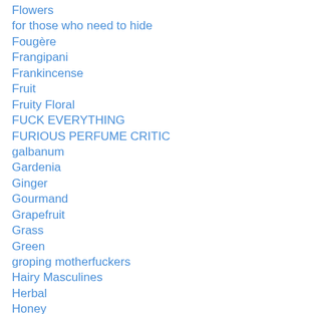Flowers
for those who need to hide
Fougère
Frangipani
Frankincense
Fruit
Fruity Floral
FUCK EVERYTHING
FURIOUS PERFUME CRITIC
galbanum
Gardenia
Ginger
Gourmand
Grapefruit
Grass
Green
groping motherfuckers
Hairy Masculines
Herbal
Honey